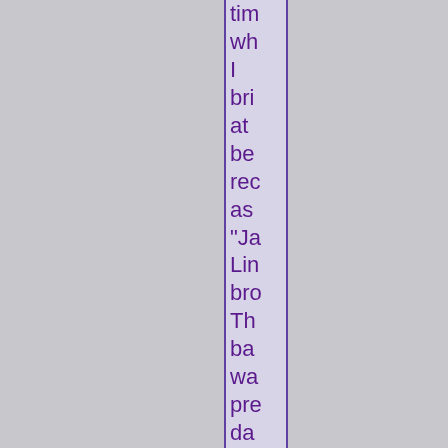tim wh I bri at be req as "Ja Lin bro Th ba wa pre da hig an I